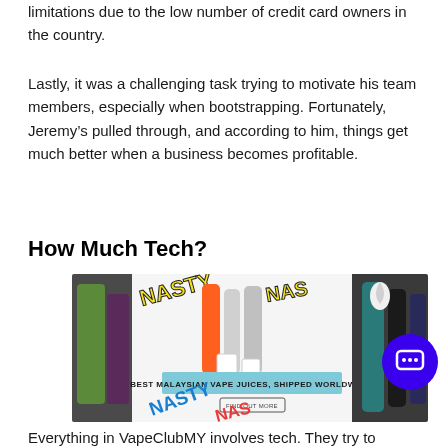limitations due to the low number of credit card owners in the country.
Lastly, it was a challenging task trying to motivate his team members, especially when bootstrapping. Fortunately, Jeremy’s pulled through, and according to him, things get much better when a business becomes profitable.
How Much Tech?
[Figure (photo): Product photo showing Nasty Juice vape products with text 'BEST MALAYSIAN VAPE JUICES, SHIPPED WORLDWIDE!' and a 'FIND OUT MORE' button]
Everything in VapeClubMY involves tech. They try to